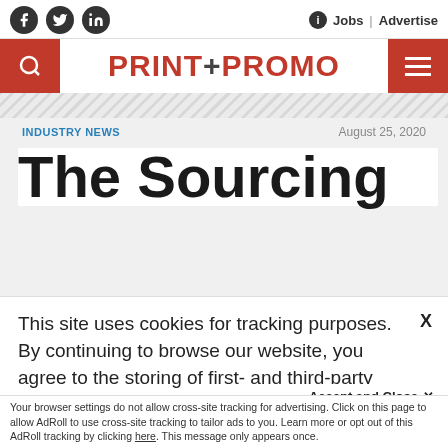PRINT+PROMO — Jobs | Advertise
INDUSTRY NEWS — August 25, 2020
The Sourcing
This site uses cookies for tracking purposes. By continuing to browse our website, you agree to the storing of first- and third-party cookies on your device to enhance site navigation, analyze site usage, and assist in our marketing and
Accept and Close ✕
Your browser settings do not allow cross-site tracking for advertising. Click on this page to allow AdRoll to use cross-site tracking to tailor ads to you. Learn more or opt out of this AdRoll tracking by clicking here. This message only appears once.